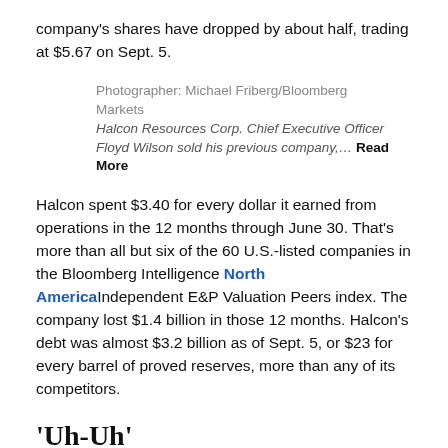company's shares have dropped by about half, trading at $5.67 on Sept. 5.
Photographer: Michael Friberg/Bloomberg Markets
Halcon Resources Corp. Chief Executive Officer Floyd Wilson sold his previous company,… Read More
Halcon spent $3.40 for every dollar it earned from operations in the 12 months through June 30. That's more than all but six of the 60 U.S.-listed companies in the Bloomberg Intelligence North America Independent E&P Valuation Peers index. The company lost $1.4 billion in those 12 months. Halcon's debt was almost $3.2 billion as of Sept. 5, or $23 for every barrel of proved reserves, more than any of its competitors.
'Uh-Uh'
Wilson is undeterred. "What do you do if you're wrong?